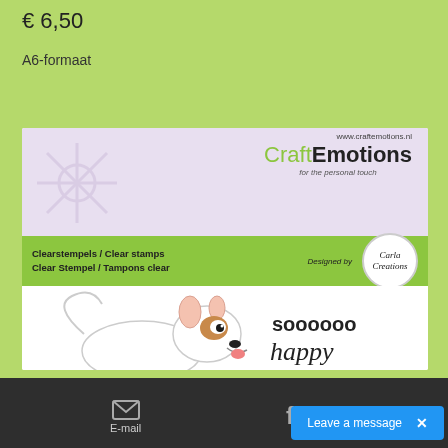€ 6,50
A6-formaat
In winkelwagen
[Figure (photo): CraftEmotions clear stamp product packaging showing a dog illustration with 'soooooo happy' text, designed by Carla Creations]
E-mail | Leave a message ×